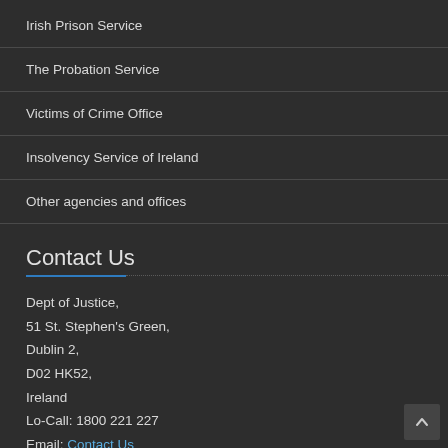Irish Prison Service
The Probation Service
Victims of Crime Office
Insolvency Service of Ireland
Other agencies and offices
Contact Us
Dept of Justice,
51 St. Stephen's Green,
Dublin 2,
D02 HK52,
Ireland
Lo-Call: 1800 221 227
Email: Contact Us